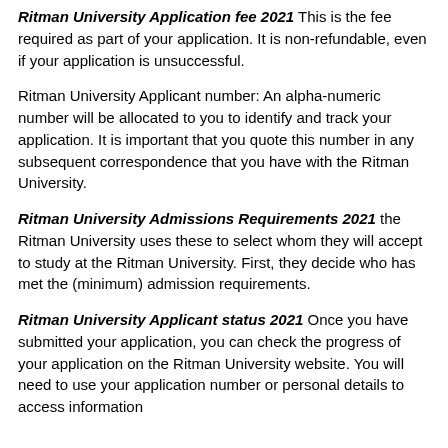Ritman University Application fee 2021 This is the fee required as part of your application. It is non-refundable, even if your application is unsuccessful.
Ritman University Applicant number: An alpha-numeric number will be allocated to you to identify and track your application. It is important that you quote this number in any subsequent correspondence that you have with the Ritman University.
Ritman University Admissions Requirements 2021 the Ritman University uses these to select whom they will accept to study at the Ritman University. First, they decide who has met the (minimum) admission requirements.
Ritman University Applicant status 2021 Once you have submitted your application, you can check the progress of your application on the Ritman University website. You will need to use your application number or personal details to access information